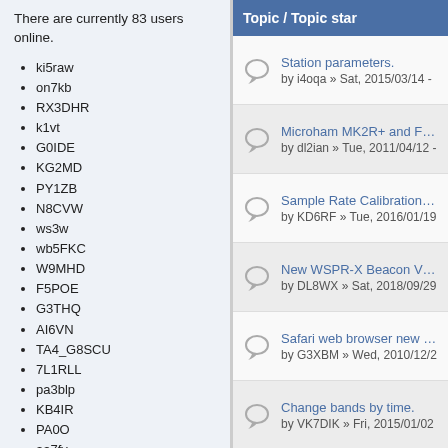There are currently 83 users online.
ki5raw
on7kb
RX3DHR
k1vt
G0IDE
KG2MD
PY1ZB
N8CVW
ws3w
wb5FKC
W9MHD
F5POE
G3THQ
AI6VN
TA4_G8SCU
7L1RLL
pa3blp
KB4IR
PA0O
aa7fv
BV2AP
KD5TFI
HA3PG
WA2ZKD
Topic / Topic star
Station parameters.
by i4oqa » Sat, 2015/03/14 -
Microham MK2R+ and FT-84
by dl2ian » Tue, 2011/04/12 -
Sample Rate Calibration? Co WSJT-X 1.16
by KD6RF » Tue, 2016/01/19
New WSPR-X Beacon VK4R
by DL8WX » Sat, 2018/09/29
Safari web browser new data
by G3XBM » Wed, 2010/12/2
Change bands by time.
by VK7DIK » Fri, 2015/01/02
WSPRX r3058 timestamp wr